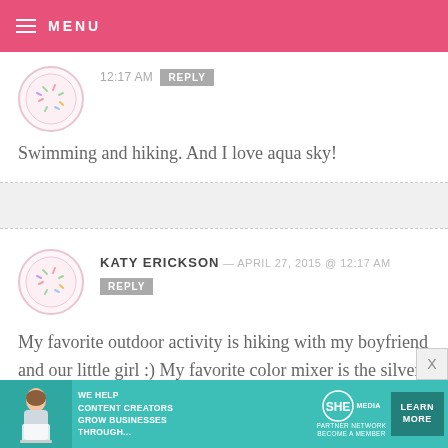MENU
12:17 AM  REPLY
Swimming and hiking. And I love aqua sky!
KATY ERICKSON — APRIL 27, 2015 @ 12:17 AM  REPLY
My favorite outdoor activity is hiking with my boyfriend and our little girl :) My favorite color mixer is the silver metallic!
[Figure (infographic): SHE Partner Network advertisement banner — teal background with woman with laptop, WE HELP CONTENT CREATORS GROW BUSINESSES THROUGH... text, SHE logo, PARTNER NETWORK BECOME A MEMBER, LEARN MORE button]